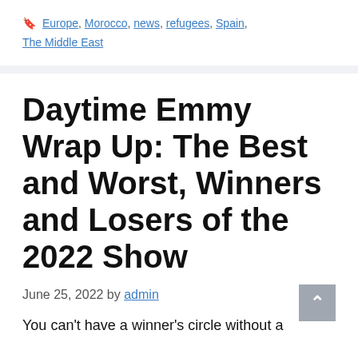Europe, Morocco, news, refugees, Spain, The Middle East
Daytime Emmy Wrap Up: The Best and Worst, Winners and Losers of the 2022 Show
June 25, 2022 by admin
You can't have a winner's circle without a